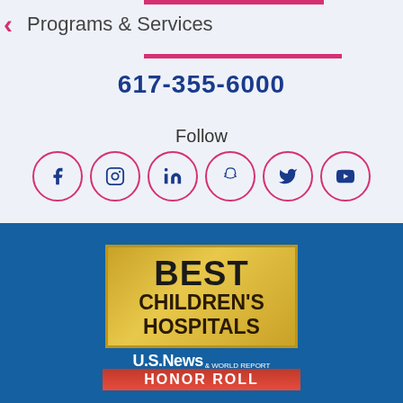Programs & Services
617-355-6000
Follow
[Figure (logo): Best Children's Hospitals U.S. News & World Report badge on blue background]